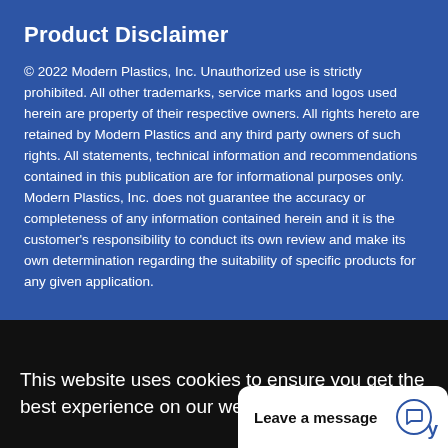Product Disclaimer
© 2022 Modern Plastics, Inc. Unauthorized use is strictly prohibited. All other trademarks, service marks and logos used herein are property of their respective owners. All rights hereto are retained by Modern Plastics and any third party owners of such rights. All statements, technical information and recommendations contained in this publication are for informational purposes only. Modern Plastics, Inc. does not guarantee the accuracy or completeness of any information contained herein and it is the customer's responsibility to conduct its own review and make its own determination regarding the suitability of specific products for any given application.
This website uses cookies to ensure you get the best experience on our websi
Leave a message